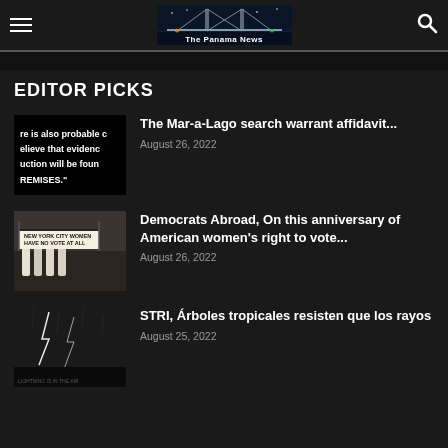The Panama News
EDITOR PICKS
The Mar-a-Lago search warrant affidavit...
August 26, 2022
Democrats Abroad, On this anniversary of American women's right to vote...
August 26, 2022
STRI, Árboles tropicales resisten que los rayos
August 25, 2022